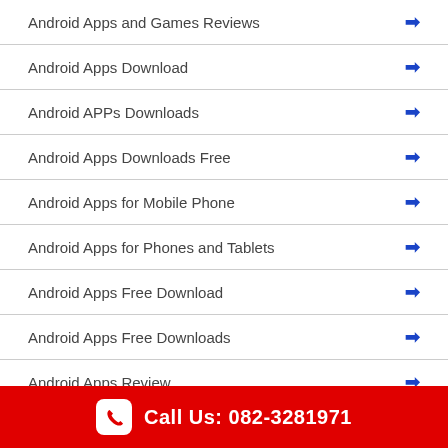Android Apps and Games Reviews →
Android Apps Download →
Android APPs Downloads →
Android Apps Downloads Free →
Android Apps for Mobile Phone →
Android Apps for Phones and Tablets →
Android Apps Free Download →
Android Apps Free Downloads →
Android Apps Review →
Android Best APKs Downloads →
Call Us: 082-3281971